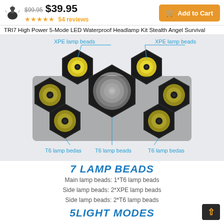[Figure (screenshot): Product listing header with lamp icon, crossed-out price $99.95, sale price $39.95, 5 gold stars, 54 reviews text, and orange Add to Cart button]
TRI7 High Power 5-Mode LED Waterproof Headlamp Kit Stealth Angel Survival
[Figure (photo): Front view of TRI7 LED headlamp showing 7 lamp beads in hexagonal arrangement: 2 XPE lamp beads at top (labeled), 1 large T6 central main lamp bead, 2 T6 lamp beads on sides (labeled 'T6 lamp bedas'), and bottom T6 lamp beads with blue annotation lines]
7 LAMP BEADS
Main lamp beads: 1*T6 lamp beads
Side lamp beads: 2*XPE lamp beads
Side lamp beads: 2*T6 lamp beads
5LIGHT MODES